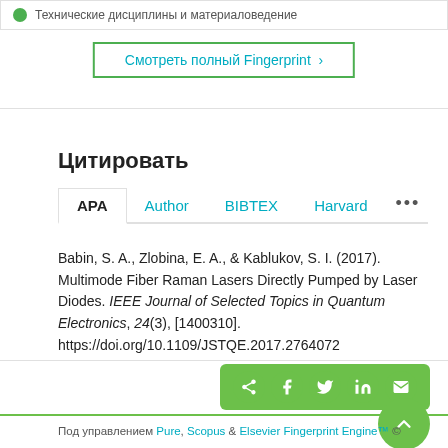Технические дисциплины и материаловедение
Смотреть полный Fingerprint ›
Цитировать
APA | Author | BIBTEX | Harvard | ...
Babin, S. A., Zlobina, E. A., & Kablukov, S. I. (2017). Multimode Fiber Raman Lasers Directly Pumped by Laser Diodes. IEEE Journal of Selected Topics in Quantum Electronics, 24(3), [1400310]. https://doi.org/10.1109/JSTQE.2017.2764072
Под управлением Pure, Scopus & Elsevier Fingerprint Engine™ ©